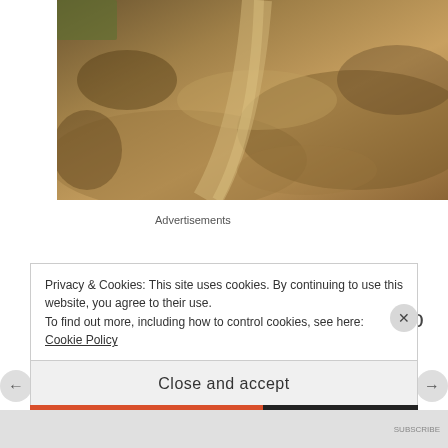[Figure (photo): Photograph showing a dirt path or track through muddy, rocky terrain with sandy soil tones]
Advertisements
We drove not far from Yakaré Sur to a Mennonite estancia. The scene looked idyllic with grazing cows, green pastures, windmills, and landscapes dotted with palm trees and jacarandas.
Privacy & Cookies: This site uses cookies. By continuing to use this website, you agree to their use.
To find out more, including how to control cookies, see here: Cookie Policy
Close and accept